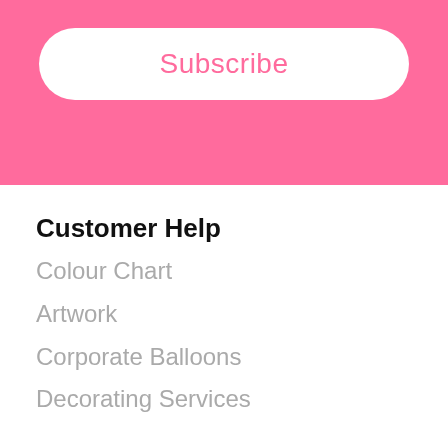Subscribe
Customer Help
Colour Chart
Artwork
Corporate Balloons
Decorating Services
Information
Terms & Conditions
Privacy Policy
Delivery Information